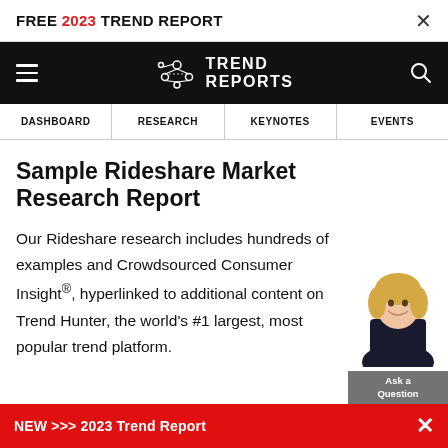FREE 2023 TREND REPORT  ×
[Figure (logo): Trend Reports logo with network icon on black navigation bar, with hamburger menu on left and search icon on right]
DASHBOARD  RESEARCH  KEYNOTES  EVENTS
Sample Rideshare Market Research Report
Our Rideshare research includes hundreds of examples and Crowdsourced Consumer Insight®, hyperlinked to additional content on Trend Hunter, the world's #1 largest, most popular trend platform.
NEW >>> 2023 Trend Report  ×